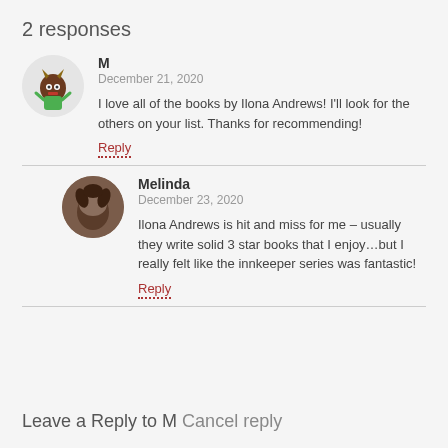2 responses
M
December 21, 2020
I love all of the books by Ilona Andrews! I'll look for the others on your list. Thanks for recommending!
Reply
Melinda
December 23, 2020
Ilona Andrews is hit and miss for me – usually they write solid 3 star books that I enjoy…but I really felt like the innkeeper series was fantastic!
Reply
Leave a Reply to M Cancel reply